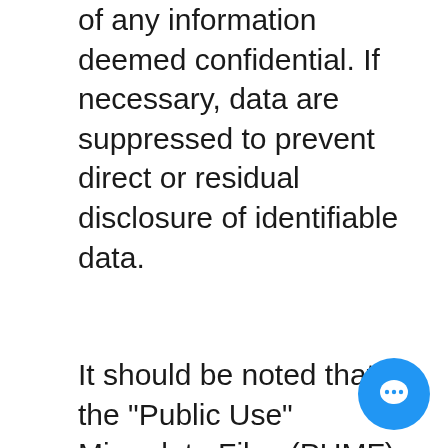of any information deemed confidential. If necessary, data are suppressed to prevent direct or residual disclosure of identifiable data.
It should be noted that the "Public Use" Microdata Files (PUMF) may differ from the survey "master" files held by Statistics Canada. These differences usually are the result of actions taken to protect the anonymity of individual survey respondents. The most common actions are the suppression of data items and the grouping of data into...